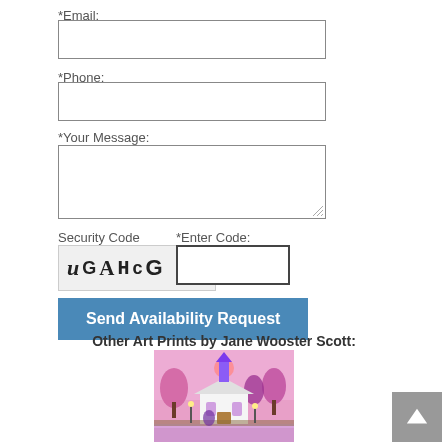*Email:
*Phone:
*Your Message:
Security Code
*Enter Code:
[Figure (other): CAPTCHA image with distorted letters uGAHcG on a speckled background]
Send Availability Request
Other Art Prints by Jane Wooster Scott:
[Figure (photo): Colorful folk art print by Jane Wooster Scott showing a white church with pink blossoming trees and purple/pink sky reflected in water]